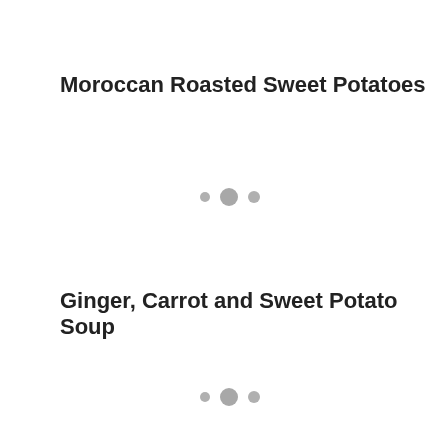Moroccan Roasted Sweet Potatoes
[Figure (other): Three grey dots of varying sizes arranged horizontally, suggesting a loading or navigation indicator]
Ginger, Carrot and Sweet Potato Soup
[Figure (other): Three grey dots of varying sizes arranged horizontally, suggesting a loading or navigation indicator]